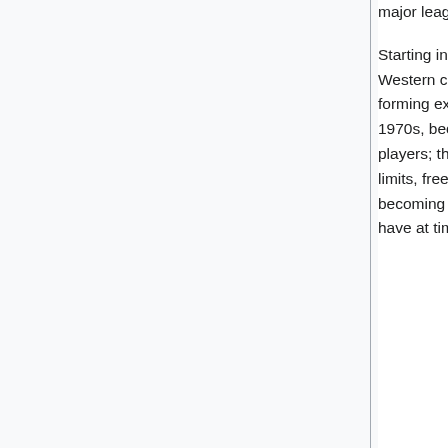major leagues in 1947; until then black players had been restricted to the Negro leagues.
Starting in the late 1950s, major league baseball expanded its geographical range. Western cities acquired teams, either by luring them to move from eastern cities or by forming expansion teams with players made available by established teams. Until the 1970s, because of strict contracts, the owners of baseball teams also virtually owned the players; the rules then changed so that players could become free agents within certain limits, free to sell their services to any team. The resulting bidding wars led to players becoming increasingly wealthy. Disputes between the players' union and the owners have at times halted baseball for months at a time